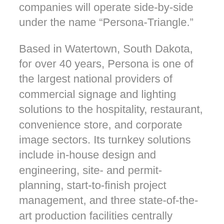companies will operate side-by-side under the name "Persona-Triangle."
Based in Watertown, South Dakota, for over 40 years, Persona is one of the largest national providers of commercial signage and lighting solutions to the hospitality, restaurant, convenience store, and corporate image sectors. Its turnkey solutions include in-house design and engineering, site- and permit-planning, start-to-finish project management, and three state-of-the-art production facilities centrally based in South Dakota, with the capacity and expertise to support the largest brand and sign programs in the world.
While Persona and Triangle will each continue to serve their respective customers and markets directly, the two companies will leverage their